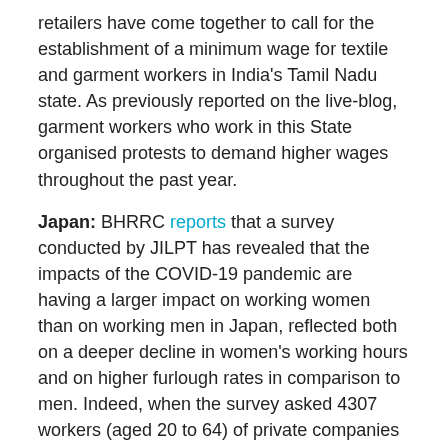retailers have come together to call for the establishment of a minimum wage for textile and garment workers in India's Tamil Nadu state. As previously reported on the live-blog, garment workers who work in this State organised protests to demand higher wages throughout the past year.
Japan: BHRRC reports that a survey conducted by JILPT has revealed that the impacts of the COVID-19 pandemic are having a larger impact on working women than on working men in Japan, reflected both on a deeper decline in women's working hours and on higher furlough rates in comparison to men. Indeed, when the survey asked 4307 workers (aged 20 to 64) of private companies who were employed on April 1 2020 about their employment situation in May, it found a remarkable gender gap in terms of the percentage of persons who became unemployed or furloughed.